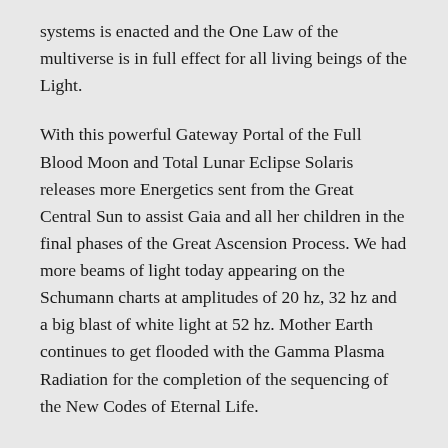systems is enacted and the One Law of the multiverse is in full effect for all living beings of the Light.
With this powerful Gateway Portal of the Full Blood Moon and Total Lunar Eclipse Solaris releases more Energetics sent from the Great Central Sun to assist Gaia and all her children in the final phases of the Great Ascension Process. We had more beams of light today appearing on the Schumann charts at amplitudes of 20 hz, 32 hz and a big blast of white light at 52 hz. Mother Earth continues to get flooded with the Gamma Plasma Radiation for the completion of the sequencing of the New Codes of Eternal Life.
This assists all Living Beings in the Freedom and Liberation from all Suffering Simulations and Programs of Delusions and Illusions. As the Veils lift the Eyes of our Spirits Open to Reveal all things that remain hidden from our Conscious Mind. This will bring our Divine Birthright into fruition for